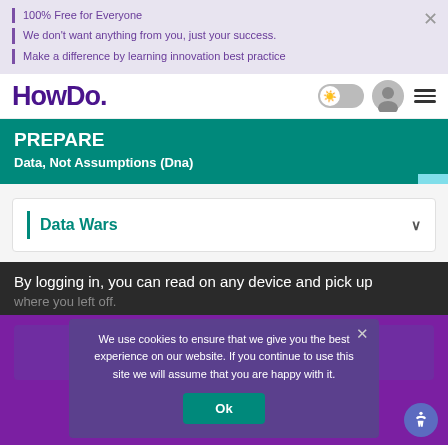100% Free for Everyone
We don't want anything from you, just your success.
Make a difference by learning innovation best practice
[Figure (logo): HowDo. logo in dark purple]
PREPARE
Data, Not Assumptions (Dna)
Data Wars
By logging in, you can read on any device and pick up where you left off.
We use cookies to ensure that we give you the best experience on our website. If you continue to use this site we will assume that you are happy with it.
Ok